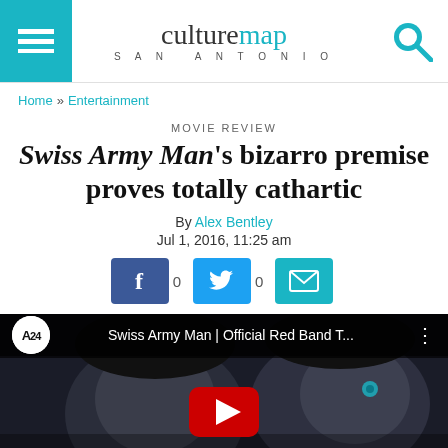culturemap SAN ANTONIO
Home » Entertainment
MOVIE REVIEW
Swiss Army Man's bizarro premise proves totally cathartic
By Alex Bentley
Jul 1, 2016, 11:25 am
[Figure (screenshot): Social sharing buttons: Facebook (0), Twitter (0), Email]
[Figure (screenshot): YouTube video thumbnail: Swiss Army Man | Official Red Band T... with A24 logo and play button overlay]